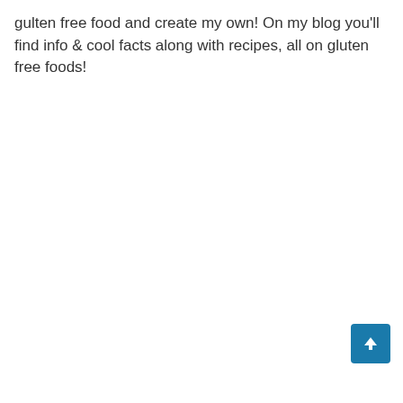gulten free food and create my own! On my blog you'll find info & cool facts along with recipes, all on gluten free foods!